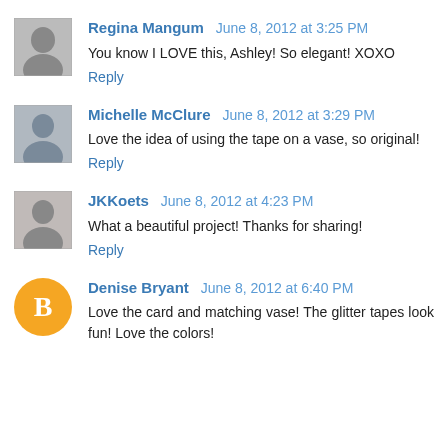[Figure (photo): Grayscale avatar photo of Regina Mangum]
Regina Mangum June 8, 2012 at 3:25 PM
You know I LOVE this, Ashley! So elegant! XOXO
Reply
[Figure (photo): Grayscale avatar photo of Michelle McClure]
Michelle McClure June 8, 2012 at 3:29 PM
Love the idea of using the tape on a vase, so original!
Reply
[Figure (photo): Grayscale avatar photo of JKKoets]
JKKoets June 8, 2012 at 4:23 PM
What a beautiful project! Thanks for sharing!
Reply
[Figure (logo): Blogger B logo orange circle avatar for Denise Bryant]
Denise Bryant June 8, 2012 at 6:40 PM
Love the card and matching vase! The glitter tapes look fun! Love the colors!